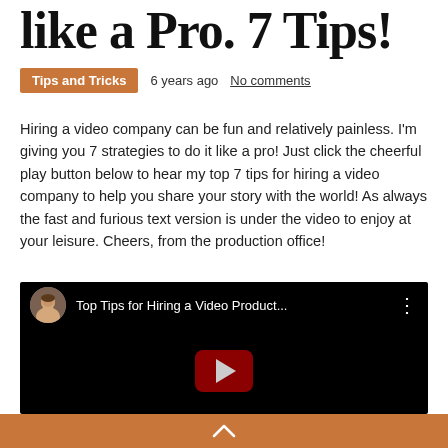like a Pro. 7 Tips!
Tips and Tricks   6 years ago   No comments
Hiring a video company can be fun and relatively painless.  I'm giving you 7 strategies to do it like a pro!  Just click the cheerful play button below to hear my top 7 tips for hiring a video company to help you share your story with the world!  As always the fast and furious text version is under the video to enjoy at your leisure.  Cheers, from the production office!
[Figure (screenshot): YouTube video thumbnail showing 'Top Tips for Hiring a Video Product...' with a woman avatar in a circular profile picture and a red YouTube play button on black background.]